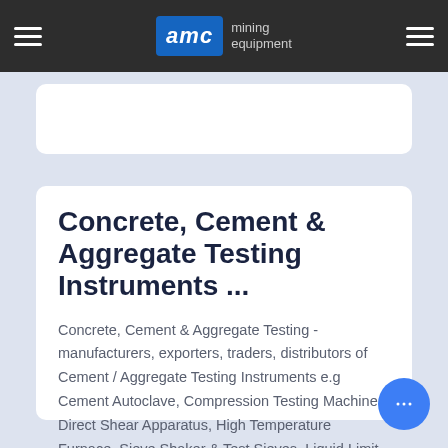AMC mining equipment
Concrete, Cement & Aggregate Testing Instruments ...
Concrete, Cement & Aggregate Testing - manufacturers, exporters, traders, distributors of Cement / Aggregate Testing Instruments e.g Cement Autoclave, Compression Testing Machine, Direct Shear Apparatus, High Temperature Furnace, Sieve Shaker & Test Sieves, Liquid Limit Apparatu... Rapid Moisture Tester, Jaw Crusher, Mortar Mixer,